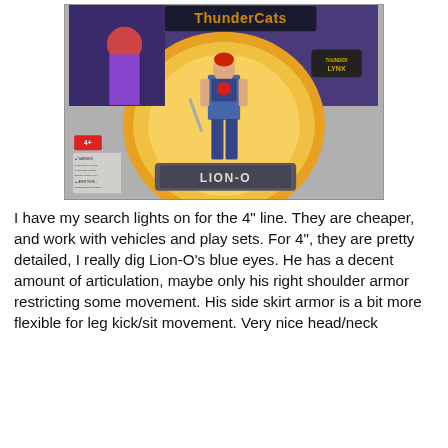[Figure (photo): A packaged ThunderCats action figure of Lion-O in a blister card. The packaging features the ThunderCats logo at the top and a Thunder Lynx logo on the right side. The figure shows Lion-O in blue/gray armor with red hair, holding a sword. The base of the package reads 'LION-O' in large letters. The package also shows a 4+ age rating.]
I have my search lights on for the 4" line. They are cheaper, and work with vehicles and play sets. For 4", they are pretty detailed, I really dig Lion-O's blue eyes. He has a decent amount of articulation, maybe only his right shoulder armor restricting some movement. His side skirt armor is a bit more flexible for leg kick/sit movement. Very nice head/neck